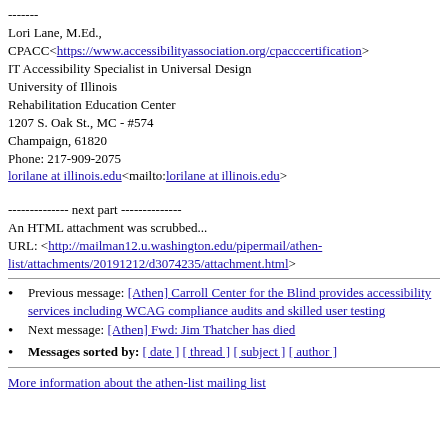-------
Lori Lane, M.Ed.,
CPACC<https://www.accessibilityassociation.org/cpacccertification>
IT Accessibility Specialist in Universal Design
University of Illinois
Rehabilitation Education Center
1207 S. Oak St., MC - #574
Champaign, 61820
Phone: 217-909-2075
lorilane at illinois.edu<mailto:lorilane at illinois.edu>
-------------- next part --------------
An HTML attachment was scrubbed...
URL: <http://mailman12.u.washington.edu/pipermail/athen-list/attachments/20191212/d3074235/attachment.html>
Previous message: [Athen] Carroll Center for the Blind provides accessibility services including WCAG compliance audits and skilled user testing
Next message: [Athen] Fwd: Jim Thatcher has died
Messages sorted by: [ date ] [ thread ] [ subject ] [ author ]
More information about the athen-list mailing list